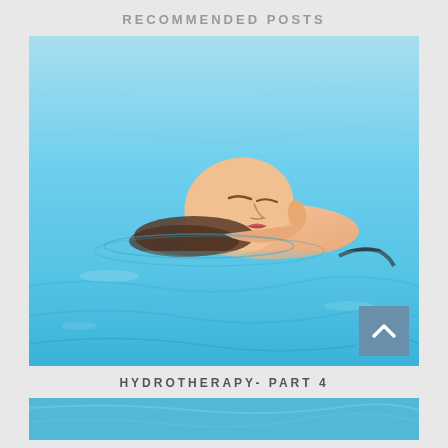RECOMMENDED POSTS
[Figure (photo): Woman floating on her back in a bright blue swimming pool, eyes closed, relaxed expression, viewed from the side at water level.]
HYDROTHERAPY- PART 4
[Figure (photo): Partial view of a water/pool scene at the bottom of the page, partially cut off.]